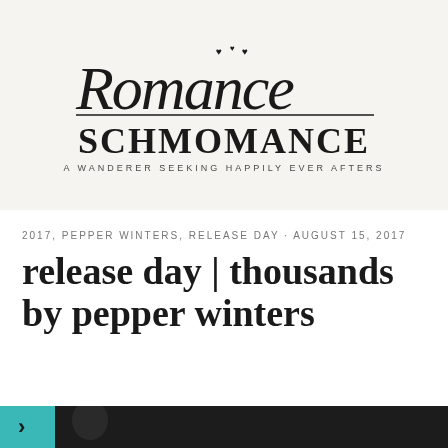[Figure (logo): Romance Schmomance blog logo — cursive 'Romance' script over bold serif 'SCHMOMANCE' with tagline 'A WANDERER SEEKING HAPPILY EVER AFTERS' on a light beige background]
2017, PEPPER WINTERS, RELEASE DAY · AUGUST 15, 2017
release day | thousands by pepper winters
[Figure (photo): Bottom strip showing a partial thumbnail image with teal/dark book cover or photo]